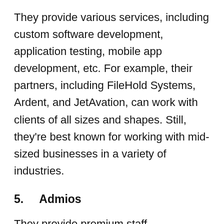They provide various services, including custom software development, application testing, mobile app development, etc. For example, their partners, including FileHold Systems, Ardent, and JetAvation, can work with clients of all sizes and shapes. Still, they're best known for working with mid-sized businesses in a variety of industries.
5.    Admios
They provide premium staff augmentation services to VPs, CTOs, and Directors of Software Engineering and can assist in the following ways – fast, Simple Recruiting & Onboarding brings